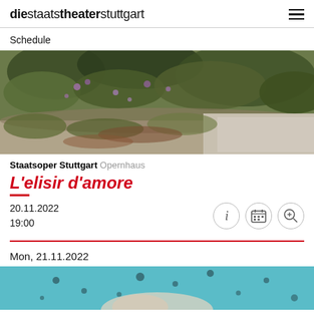die staats theater stuttgart
Schedule
[Figure (photo): Close-up photo of a rocky alpine garden with purple wildflowers, grass, and mixed low-growing plants on stone ground]
Staatsoper Stuttgart Opernhaus
L'elisir d'amore
20.11.2022
19:00
Mon, 21.11.2022
[Figure (photo): Partial view of a figure underwater or on a teal-colored surface with dark spots]